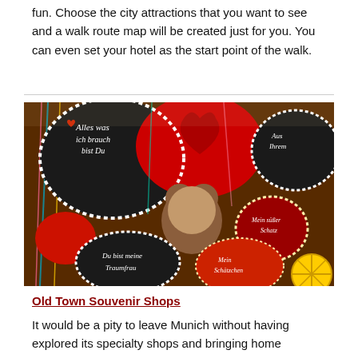fun. Choose the city attractions that you want to see and a walk route map will be created just for you. You can even set your hotel as the start point of the walk.
[Figure (photo): Photo of decorative gingerbread hearts (Lebkuchenherzen) with icing text in German, hanging at a market stall. Hearts display various messages in white icing on brown gingerbread, decorated with colorful ribbons.]
Old Town Souvenir Shops
It would be a pity to leave Munich without having explored its specialty shops and bringing home something truly